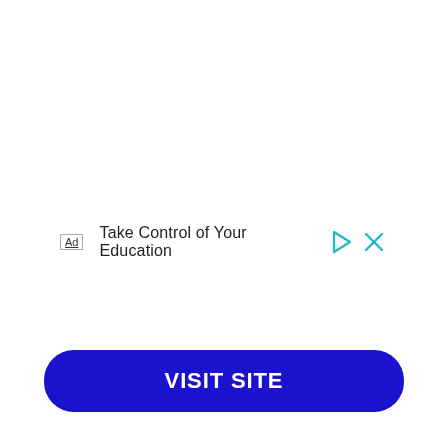[Figure (other): Advertisement banner with Ad label, text 'Take Control of Your Education', and ad control icons (play and close buttons)]
VISIT SITE